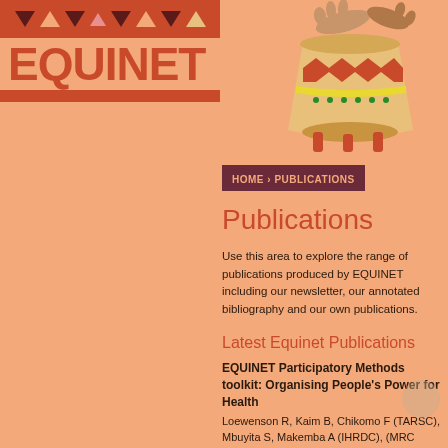[Figure (logo): EQUINET logo with red bar at top containing triangular geometric shapes in dark red, salmon, and cream, large red EQUINET text on peach background, red bar at bottom]
[Figure (illustration): Illustration of hands drumming on a decorated African drum with zigzag red patterns, green dots, yellow stripe, on peach background]
HOME › PUBLICATIONS
Publications
Use this area to explore the range of publications produced by EQUINET including our newsletter, our annotated bibliography and our own publications.
Latest Equinet Publications
EQUINET Participatory Methods toolkit: Organising People's Power for Health
Loewenson R, Kaim B, Chikomo F (TARSC), Mbuyita S, Makemba A (IHRDC), (MRC Robarts...)